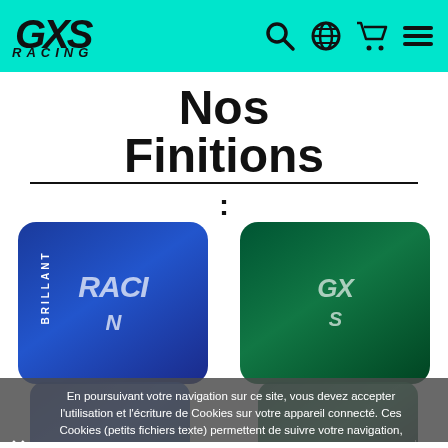GXS RACING — header with logo and navigation icons (search, globe, cart, menu)
Nos Finitions :
[Figure (photo): Two product images side by side: left shows a blue GXS Racing sticker/decal with 'BRILLANT' label, right shows a green GXS Racing sticker/decal with label.]
En poursuivant votre navigation sur ce site, vous devez accepter l'utilisation et l'écriture de Cookies sur votre appareil connecté. Ces Cookies (petits fichiers texte) permettent de suivre votre navigation, actualiser votre panier, vous reconnaître lors de votre prochaine visite et sécuriser votre connexion. Pour en savoir plus et paramétrer les traceurs: http://www.cnil.fr/vos-obligations/sites-web-cookies-et-autres-traceurs/que-dit-la-loi/